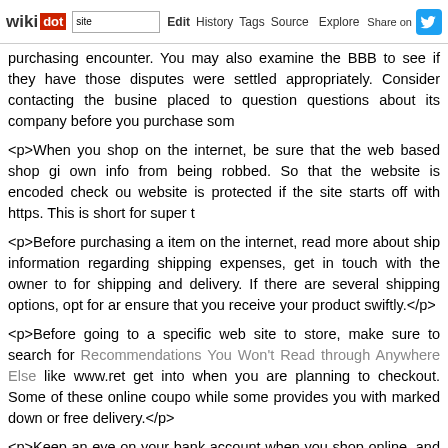wikidot | Edit | History | Tags | Source | Explore | Share on Twitter
purchasing encounter. You may also examine the BBB to see if they have those disputes were settled appropriately. Consider contacting the business placed to question questions about its company before you purchase som
<p>When you shop on the internet, be sure that the web based shop gi own info from being robbed. So that the website is encoded check ou website is protected if the site starts off with https. This is short for super t
<p>Before purchasing a item on the internet, read more about ship information regarding shipping expenses, get in touch with the owner to for shipping and delivery. If there are several shipping options, opt for ar ensure that you receive your product swiftly.</p>
<p>Before going to a specific web site to store, make sure to search for Recommendations You Won't Read through Anywhere Else like www.ret get into when you are planning to checkout. Some of these online coupo while some provides you with marked down or free delivery.</p>
<p>Keep an eye on your bank account when you shop online, and make a business like Amazon.com is unquestionably worth your believe in, th Shopping Online Is Safe And Clever: Here's Fantastic Advice computeriz or absolutely no to incorporate a tremendous alteration to your get!</p>
<p>While shopping on the web, most spots only take credit or charge car picking out a site to purchase from. In the event you don't feel at ease pro information and facts, look for another internet site. Look for a web site th you're incorporating your credit card info.</p>
<p>Remember your finances and credit score restrictions while shopp shopping online has gotten a lot of people in critical debts. You should o